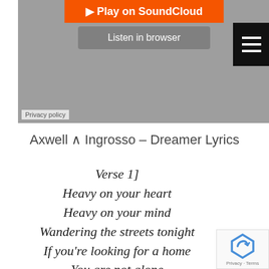[Figure (screenshot): SoundCloud embedded player with orange Play on SoundCloud button, grey Listen in browser button, grey player background, black hamburger menu icon, and Privacy policy label at bottom left]
Axwell ∧ Ingrosso – Dreamer Lyrics
Verse 1]
Heavy on your heart
Heavy on your mind
Wandering the streets tonight
If you're looking for a home
You are not alone